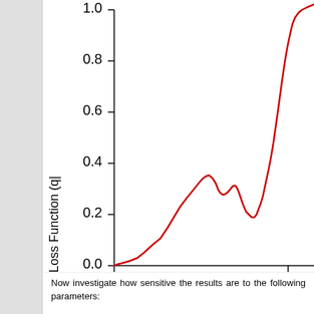[Figure (continuous-plot): Partial view of a line chart showing Loss Function (q|...) on the y-axis (0.0 to 1.0) vs. Epochs (x-axis, labeled 'E', showing 0 and 5) with a red curve that rises from near 0, shows a local peak around 0.3, dips, then rises steeply toward ~0.85 or higher at the right edge.]
Now investigate how sensitive the results are to the following parameters:
rgkmax